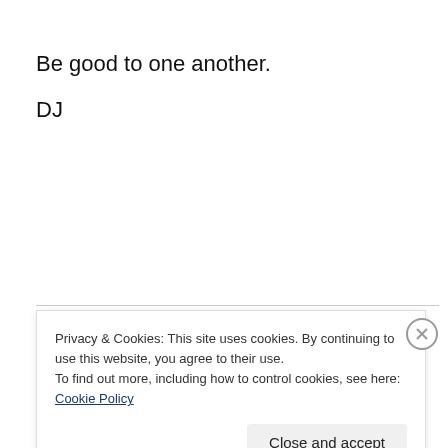Be good to one another.
DJ
Privacy & Cookies: This site uses cookies. By continuing to use this website, you agree to their use.
To find out more, including how to control cookies, see here: Cookie Policy
Close and accept